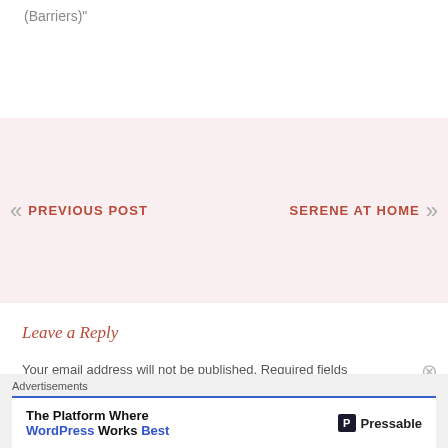(Barriers)"
PREVIOUS POST
SERENE AT HOME
Leave a Reply
Your email address will not be published. Required fields
Advertisements
The Platform Where WordPress Works Best
Pressable